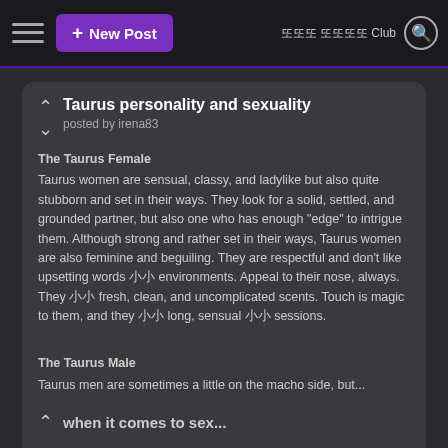+ New Post | 또또또또또또 Club
Taurus personality and sexuality
posted by irena83
The Taurus Female
Taurus women are sensual, classy, and ladylike but also quite stubborn and set in their ways. They look for a solid, settled, and grounded partner, but also one who has enough "edge" to intrigue them. Although strong and rather set in their ways, Taurus women are also feminine and beguiling. They are respectful and don't like upsetting words 또또 environments. Appeal to their nose, always. They 또또 fresh, clean, and uncomplicated scents. Touch is magic to them, and they 또또 long, sensual 또또 sessions.
The Taurus Male
Taurus men are sometimes a little on the macho side, but...
continue reading...
when it comes to sex...